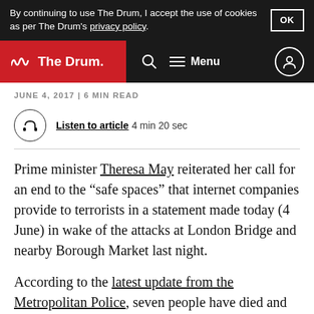By continuing to use The Drum, I accept the use of cookies as per The Drum's privacy policy.  OK
The Drum  Menu
JUNE 4, 2017 | 6 MIN READ
Listen to article  4 min 20 sec
Prime minister Theresa May reiterated her call for an end to the “safe spaces” that internet companies provide to terrorists in a statement made today (4 June) in wake of the attacks at London Bridge and nearby Borough Market last night.
According to the latest update from the Metropolitan Police, seven people have died and